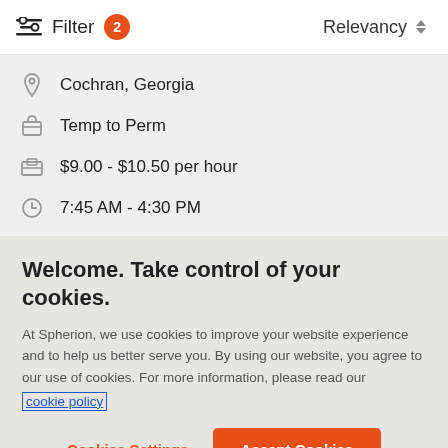Filter 2  Relevancy
Cochran, Georgia
Temp to Perm
$9.00 - $10.50 per hour
7:45 AM - 4:30 PM
Welcome. Take control of your cookies.
At Spherion, we use cookies to improve your website experience and to help us better serve you. By using our website, you agree to our use of cookies. For more information, please read our cookie policy
Cookies Settings
Accept Cookies